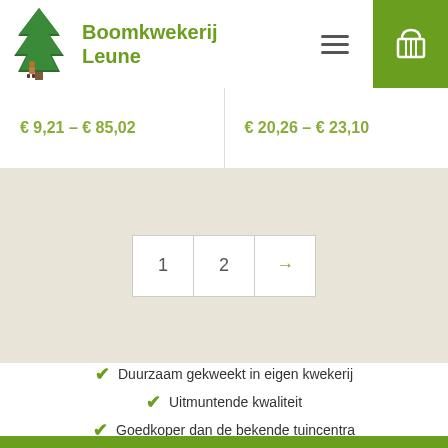[Figure (logo): Boomkwekerij Leune logo: illustration of a tall green conifer tree with a small figure (gardener) at the base]
Boomkwekerij Leune
[Figure (other): Hamburger menu icon (three horizontal lines)]
[Figure (other): Shopping cart icon on green background]
€ 9,21 – € 85,02
€ 20,26 – € 23,10
1
2
→
Duurzaam gekweekt in eigen kwekerij
Uitmuntende kwaliteit
Goedkoper dan de bekende tuincentra